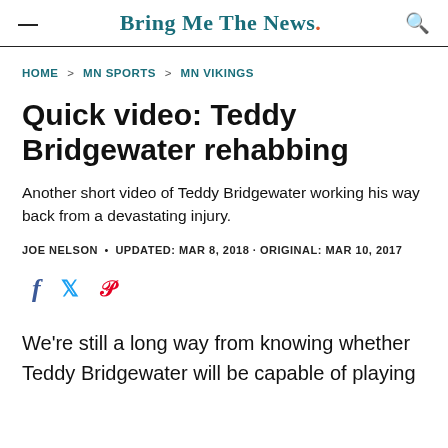Bring Me The News.
HOME > MN SPORTS > MN VIKINGS
Quick video: Teddy Bridgewater rehabbing
Another short video of Teddy Bridgewater working his way back from a devastating injury.
JOE NELSON • UPDATED: MAR 8, 2018 · ORIGINAL: MAR 10, 2017
[Figure (other): Social share icons: Facebook (f), Twitter (bird), Pinterest (P)]
We're still a long way from knowing whether Teddy Bridgewater will be capable of playing